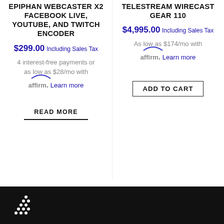EPIPHAN WEBCASTER X2 FACEBOOK LIVE, YOUTUBE, AND TWITCH ENCODER
$299.00 Including Sales Tax
4 interest-free payments or as low as $28/mo with affirm. Learn more
READ MORE
TELESTREAM WIRECAST GEAR 110
$4,995.00 Including Sales Tax
As low as $174/mo with affirm. Learn more
ADD TO CART